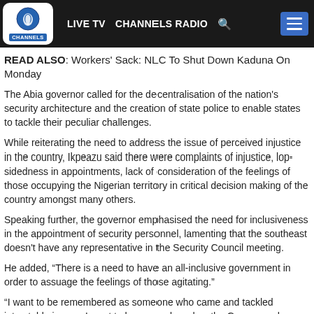LIVE TV  CHANNELS RADIO  [search] [menu]
READ ALSO: Workers' Sack: NLC To Shut Down Kaduna On Monday
The Abia governor called for the decentralisation of the nation's security architecture and the creation of state police to enable states to tackle their peculiar challenges.
While reiterating the need to address the issue of perceived injustice in the country, Ikpeazu said there were complaints of injustice, lop-sidedness in appointments, lack of consideration of the feelings of those occupying the Nigerian territory in critical decision making of the country amongst many others.
Speaking further, the governor emphasised the need for inclusiveness in the appointment of security personnel, lamenting that the southeast doesn't have any representative in the Security Council meeting.
He added, "There is a need to have an all-inclusive government in order to assuage the feelings of those agitating."
“I want to be remembered as someone who came and tackled intractable issues; I want to be remembered as the Governor who